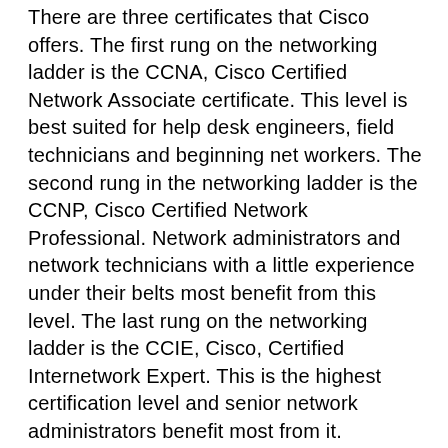There are three certificates that Cisco offers. The first rung on the networking ladder is the CCNA, Cisco Certified Network Associate certificate. This level is best suited for help desk engineers, field technicians and beginning net workers. The second rung in the networking ladder is the CCNP, Cisco Certified Network Professional. Network administrators and network technicians with a little experience under their belts most benefit from this level. The last rung on the networking ladder is the CCIE, Cisco, Certified Internetwork Expert. This is the highest certification level and senior network administrators benefit most from it.